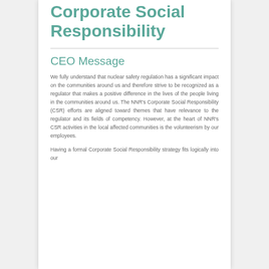Corporate Social Responsibility
CEO Message
We fully understand that nuclear safety regulation has a significant impact on the communities around us and therefore strive to be recognized as a regulator that makes a positive difference in the lives of the people living in the communities around us. The NNR's Corporate Social Responsibility (CSR) efforts are aligned toward themes that have relevance to the regulator and its fields of competency. However, at the heart of NNR's CSR activities in the local affected communities is the volunteerism by our employees.
Having a formal Corporate Social Responsibility strategy fits logically into our